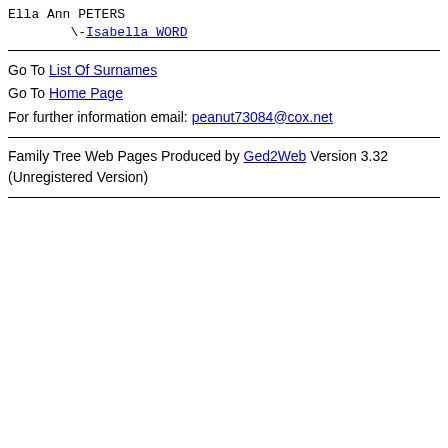Ella Ann PETERS
    \-Isabella WORD
Go To List Of Surnames
Go To Home Page
For further information email: peanut73084@cox.net
Family Tree Web Pages Produced by Ged2Web Version 3.32 (Unregistered Version)